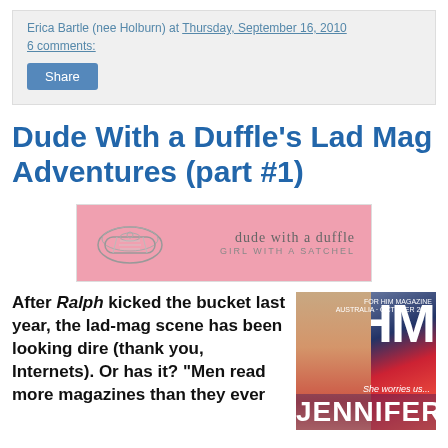Erica Bartle (nee Holburn) at Thursday, September 16, 2010
6 comments:
Share
Dude With a Duffle's Lad Mag Adventures (part #1)
[Figure (logo): Pink banner logo reading 'dude with a duffle / GIRL WITH A SATCHEL' with a sketch of a duffle bag on the left]
After Ralph kicked the bucket last year, the lad-mag scene has been looking dire (thank you, Internets). Or has it? "Men read more magazines than they ever
[Figure (photo): FHM magazine cover featuring a woman with long hair in a pink top, with large white FHM letters and text reading 'She worries us... JENNIFER']